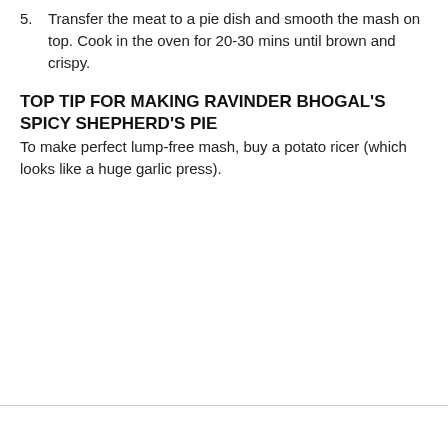5. Transfer the meat to a pie dish and smooth the mash on top. Cook in the oven for 20-30 mins until brown and crispy.
TOP TIP FOR MAKING RAVINDER BHOGAL'S SPICY SHEPHERD'S PIE
To make perfect lump-free mash, buy a potato ricer (which looks like a huge garlic press).